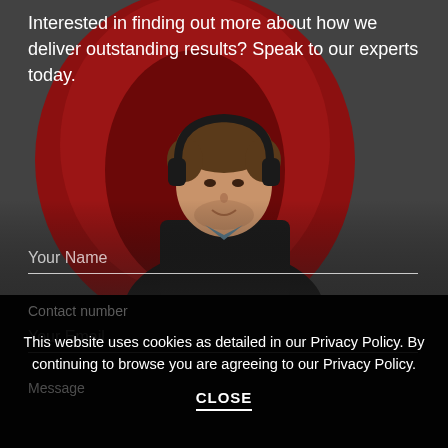Interested in finding out more about how we deliver outstanding results? Speak to our experts today.
[Figure (photo): A man wearing headphones sitting in front of a red pod chair, smiling, with a dark/grey background. A contact form overlays the bottom portion of the image.]
Your Name
Your Email
Contact number
Message
This website uses cookies as detailed in our Privacy Policy. By continuing to browse you are agreeing to our Privacy Policy.
CLOSE